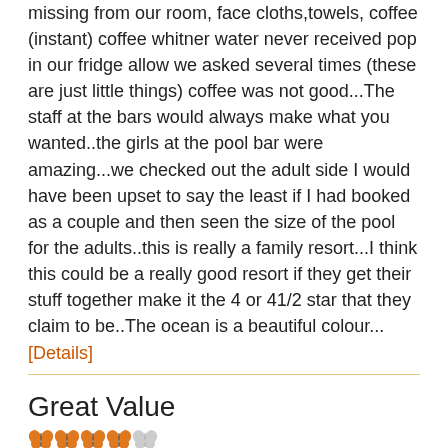missing from our room, face cloths,towels, coffee (instant) coffee whitner water never received pop in our fridge allow we asked several times (these are just little things) coffee was not good...The staff at the bars would always make what you wanted..the girls at the pool bar were amazing...we checked out the adult side I would have been upset to say the least if I had booked as a couple and then seen the size of the pool for the adults..this is really a family resort...I think this could be a really good resort if they get their stuff together make it the 4 or 41/2 star that they claim to be..The ocean is a beautiful colour...
[Details]
Great Value
[Figure (other): Star/butterfly rating: 4 out of 5 orange butterflies]
Farzana Shah, Toronto, ON
2013-02-07
The resort is overall a great value; for families with smaller kids and also for couples (seperate section). Staff are